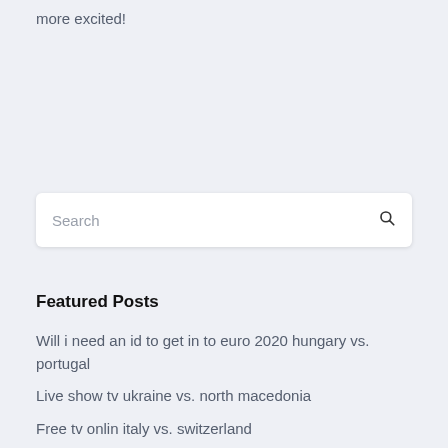more excited!
[Figure (screenshot): Search bar input field with placeholder text 'Search' and a magnifying glass icon on the right]
Featured Posts
Will i need an id to get in to euro 2020 hungary vs. portugal
Live show tv ukraine vs. north macedonia
Free tv onlin italy vs. switzerland